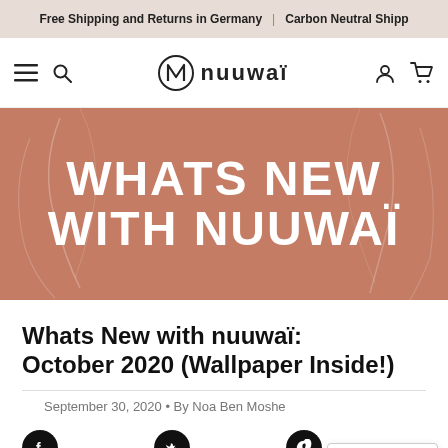Free Shipping and Returns in Germany | Carbon Neutral Shipp
[Figure (logo): nuuwaï brand logo with circular icon and stylized text]
[Figure (illustration): Hero banner with terracotta/salmon background, decorative line art of faces, text 'WHATS NEW WITH NUUWAÏ' in large white bold letters]
Whats New with nuuwaï: October 2020 (Wallpaper Inside!)
September 30, 2020 • By Noa Ben Moshe
[Figure (other): Social sharing icons: Facebook, Twitter, Pinterest, and another icon. Language selector showing English with UK flag.]